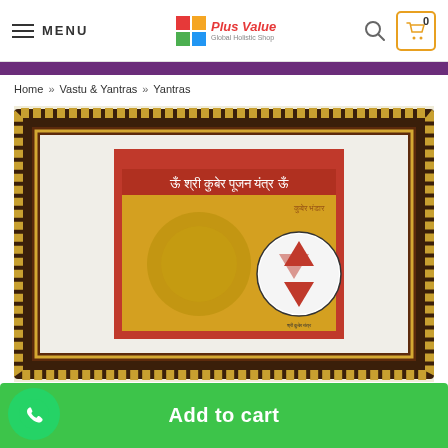MENU | Plus Value Logo | Search | Cart (0)
Home » Vastu & Yantras » Yantras
[Figure (photo): Framed Shri Kuber Pujan Yantra in a dark wooden frame with gold border, mounted on red and white mat, showing gold embossed yantra with Sanskrit text.]
Add to cart